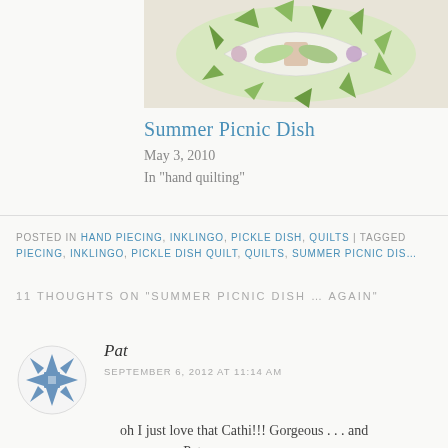[Figure (photo): Quilt image showing a summer picnic dish pattern with green, floral, and cream fabric pieces in a circular/melon shape]
Summer Picnic Dish
May 3, 2010
In "hand quilting"
POSTED IN HAND PIECING, INKLINGO, PICKLE DISH, QUILTS | TAGGED PIECING, INKLINGO, PICKLE DISH QUILT, QUILTS, SUMMER PICNIC DIS…
11 THOUGHTS ON "SUMMER PICNIC DISH … AGAIN"
Pat
SEPTEMBER 6, 2012 AT 11:14 AM
oh I just love that Cathi!!! Gorgeous . . . and amaze me. Pat